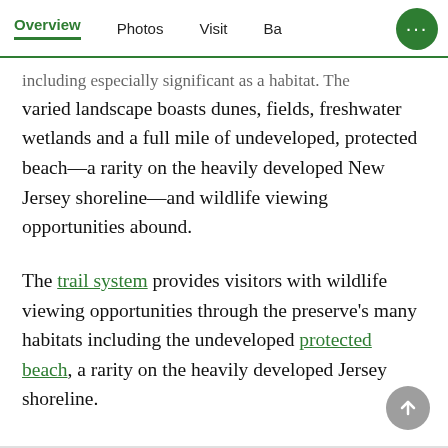Overview | Photos | Visit | Back (more)
…including especially significant as a habitat. The varied landscape boasts dunes, fields, freshwater wetlands and a full mile of undeveloped, protected beach—a rarity on the heavily developed New Jersey shoreline—and wildlife viewing opportunities abound.
The trail system provides visitors with wildlife viewing opportunities through the preserve's many habitats including the undeveloped protected beach, a rarity on the heavily developed Jersey shoreline.